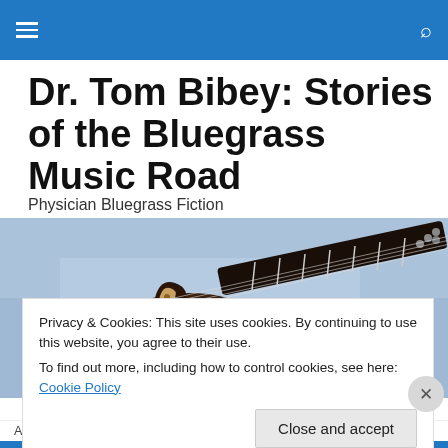≡  🔍
Dr. Tom Bibey: Stories of the Bluegrass Music Road
Physician Bluegrass Fiction
[Figure (photo): Close-up photo of a mandolin or guitar headstock and fretboard against a light blue fabric background]
Privacy & Cookies: This site uses cookies. By continuing to use this website, you agree to their use.
To find out more, including how to control cookies, see here: Cookie Policy
Close and accept
Advertisements